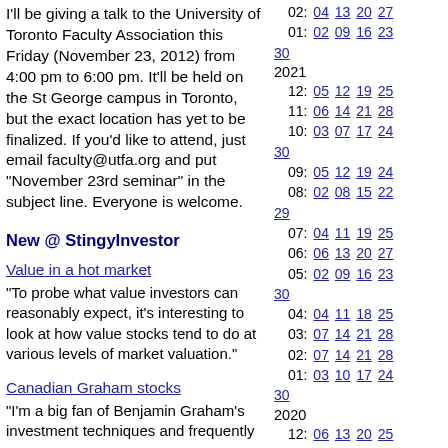I'll be giving a talk to the University of Toronto Faculty Association this Friday (November 23, 2012) from 4:00 pm to 6:00 pm. It'll be held on the St George campus in Toronto, but the exact location has yet to be finalized. If you'd like to attend, just email faculty@utfa.org and put "November 23rd seminar" in the subject line. Everyone is welcome.
New @ StingyInvestor
Value in a hot market
"To probe what value investors can reasonably expect, it's interesting to look at how value stocks tend to do at various levels of market valuation."
Canadian Graham stocks
"I'm a big fan of Benjamin Graham's investment techniques and frequently use
02: 04 13 20 27
01: 02 09 16 23
30
2021
12: 05 12 19 25
11: 06 14 21 28
10: 03 07 17 24
30
09: 05 12 19 24
08: 02 08 15 22
29
07: 04 11 19 25
06: 06 13 20 27
05: 02 09 16 23
30
04: 04 11 18 25
03: 07 14 21 28
02: 07 14 21 28
01: 03 10 17 24
30
2020
12: 06 13 20 25
11: 01 08 22 27